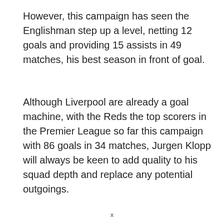However, this campaign has seen the Englishman step up a level, netting 12 goals and providing 15 assists in 49 matches, his best season in front of goal.
Although Liverpool are already a goal machine, with the Reds the top scorers in the Premier League so far this campaign with 86 goals in 34 matches, Jurgen Klopp will always be keen to add quality to his squad depth and replace any potential outgoings.
x